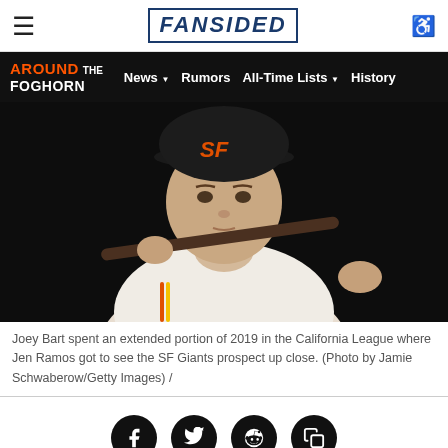FANSIDED
AROUND THE FOGHORN — News | Rumors | All-Time Lists | History
[Figure (photo): Joey Bart, SF Giants prospect, wearing a black Giants cap and white uniform, holding a baseball bat behind his shoulders, posed against a dark background. Photo by Jamie Schwaberow/Getty Images.]
Joey Bart spent an extended portion of 2019 in the California League where Jen Ramos got to see the SF Giants prospect up close. (Photo by Jamie Schwaberow/Getty Images) /
[Figure (infographic): Social sharing icons row: Facebook, Twitter, Reddit, and a copy/share button, all white icons on black circular backgrounds.]